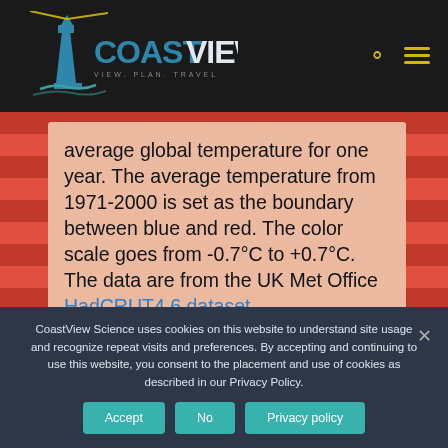[Figure (logo): CoastView logo with lighthouse icon on dark header bar, with search and menu icons on right]
average global temperature for one year. The average temperature from 1971-2000 is set as the boundary between blue and red. The color scale goes from -0.7°C to +0.7°C. The data are from the UK Met Office HadCRUT4.6 dataset.
CoastView Science uses cookies on this website to understand site usage and recognize repeat visits and preferences. By accepting and continuing to use this website, you consent to the placement and use of cookies as described in our Privacy Policy.